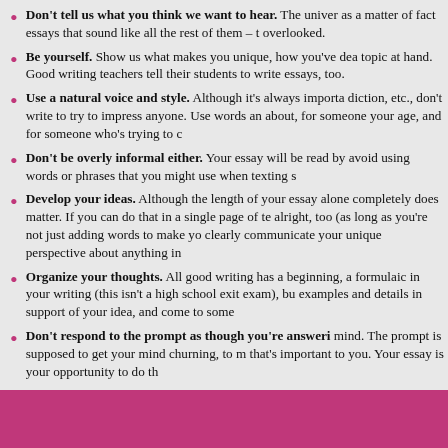Don't tell us what you think we want to hear. The university as a matter of fact essays that sound like all the rest of them – they get overlooked.
Be yourself. Show us what makes you unique, how you've dealt with the topic at hand. Good writing teachers tell their students to write about what they know essays, too.
Use a natural voice and style. Although it's always important to use good diction, etc., don't write to try to impress anyone. Use words and ideas you know about, for someone your age, and for someone who's trying to communicate.
Don't be overly informal either. Your essay will be read by admissions; avoid using words or phrases that you might use when texting someone.
Develop your ideas. Although the length of your essay alone doesn't matter, developing completely does matter. If you can do that in a single page of text, that's alright, too (as long as you're not just adding words to make your essay longer). clearly communicate your unique perspective about anything in particular.
Organize your thoughts. All good writing has a beginning, a middle, and an end. Don't be formulaic in your writing (this isn't a high school exit exam), but do offer supporting examples and details in support of your idea, and come to some conclusion.
Don't respond to the prompt as though you're answering a question with a specific answer in mind. The prompt is supposed to get your mind churning, to make you think about something that's important to you. Your essay is your opportunity to do that.